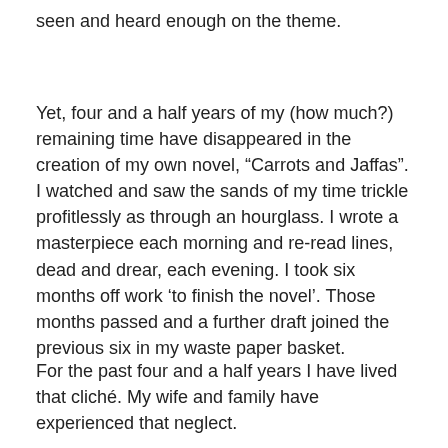seen and heard enough on the theme.
Yet, four and a half years of my (how much?) remaining time have disappeared in the creation of my own novel, “Carrots and Jaffas”. I watched and saw the sands of my time trickle profitlessly as through an hourglass. I wrote a masterpiece each morning and re-read lines, dead and drear, each evening. I took six months off work ‘to finish the novel’. Those months passed and a further draft joined the previous six in my waste paper basket.
For the past four and a half years I have lived that cliché. My wife and family have experienced that neglect.